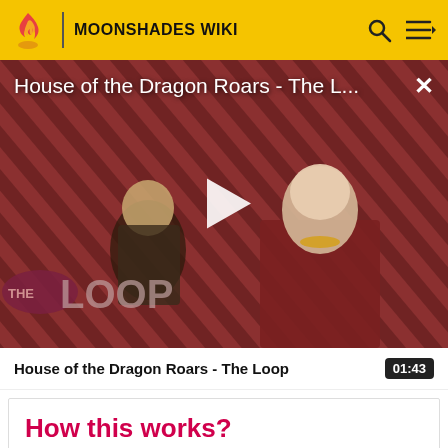MOONSHADES WIKI
[Figure (screenshot): Video thumbnail for 'House of the Dragon Roars - The L...' with a play button overlay. Shows two characters against a striped red/dark background. 'THE LOOP' badge visible at bottom left.]
House of the Dragon Roars - The Loop  01:43
How this works?
I just saw this blog feature and I don't really know